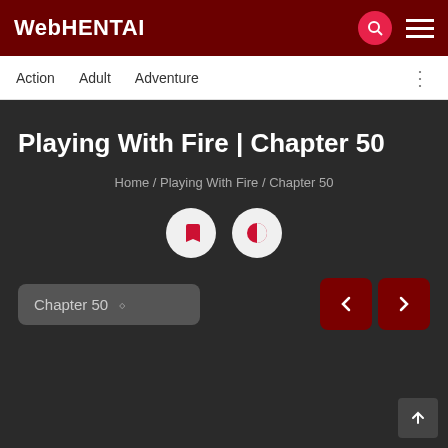WebHENTAI
Action  Adult  Adventure
Playing With Fire | Chapter 50
Home / Playing With Fire / Chapter 50
Chapter 50